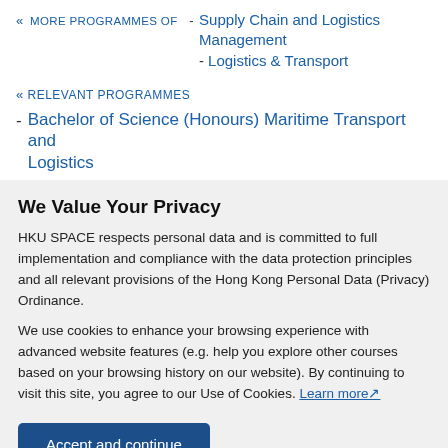« MORE PROGRAMMES OF  -  Supply Chain and Logistics Management  -  Logistics & Transport
« RELEVANT PROGRAMMES
- Bachelor of Science (Honours) Maritime Transport and Logistics
We Value Your Privacy
HKU SPACE respects personal data and is committed to full implementation and compliance with the data protection principles and all relevant provisions of the Hong Kong Personal Data (Privacy) Ordinance.
We use cookies to enhance your browsing experience with advanced website features (e.g. help you explore other courses based on your browsing history on our website). By continuing to visit this site, you agree to our Use of Cookies. Learn more
Accept and continue